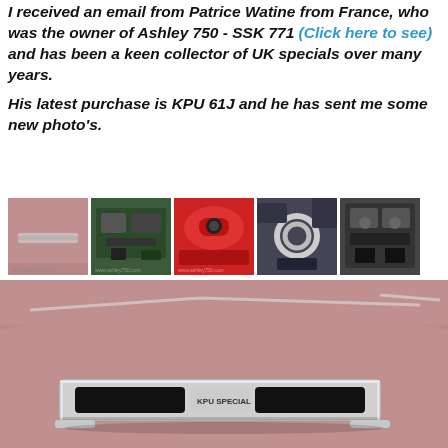I received an email from Patrice Watine from France, who was the owner of Ashley 750 - SSK 771 (Click here to see) and has been a keen collector of UK specials over many years.

His latest purchase is KPU 61J and he has sent me some new photo's.
[Figure (photo): Row of five thumbnail photos showing various car parts and a red car]
[Figure (photo): Large main photo showing the hood/bonnet of a vehicle with chrome badge reading 'KPU SPECIAL' on a pink/salmon colored body]